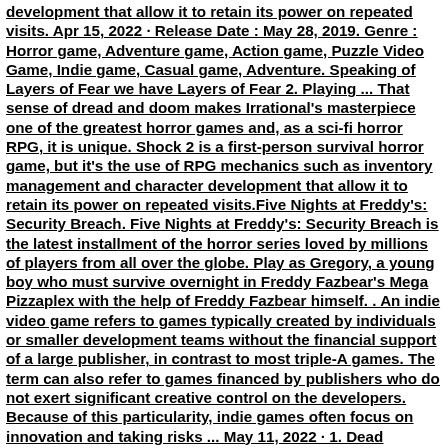development that allow it to retain its power on repeated visits. Apr 15, 2022 · Release Date : May 28, 2019. Genre : Horror game, Adventure game, Action game, Puzzle Video Game, Indie game, Casual game, Adventure. Speaking of Layers of Fear we have Layers of Fear 2. Playing ... That sense of dread and doom makes Irrational's masterpiece one of the greatest horror games and, as a sci-fi horror RPG, it is unique. Shock 2 is a first-person survival horror game, but it's the use of RPG mechanics such as inventory management and character development that allow it to retain its power on repeated visits.Five Nights at Freddy's: Security Breach. Five Nights at Freddy's: Security Breach is the latest installment of the horror series loved by millions of players from all over the globe. Play as Gregory, a young boy who must survive overnight in Freddy Fazbear's Mega Pizzaplex with the help of Freddy Fazbear himself. . An indie video game refers to games typically created by individuals or smaller development teams without the financial support of a large publisher, in contrast to most triple-A games. The term can also refer to games financed by publishers who do not exert significant creative control on the developers. Because of this particularity, indie games often focus on innovation and taking risks ... May 11, 2022 · 1. Dead Silence. Long been considered to be one of the scariest Roblox games, Dead Silence is a creepy and breathtaking experience. Based on the horror film of the same name. Dead Silence puts you in the shoes of an investigator